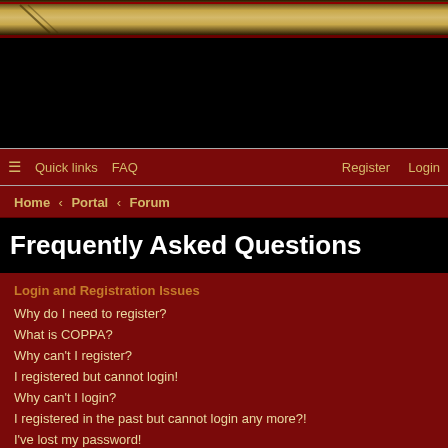[Figure (illustration): Decorative banner header with golden/tan textured background and dark red border]
[Figure (illustration): Black advertisement area]
≡ Quick links   FAQ   Register   Login
Home › Portal › Forum
Frequently Asked Questions
Login and Registration Issues
Why do I need to register?
What is COPPA?
Why can't I register?
I registered but cannot login!
Why can't I login?
I registered in the past but cannot login any more?!
I've lost my password!
Why do I get logged off automatically?
What does the "Delete all board cookies" do?
User Preferences and settings